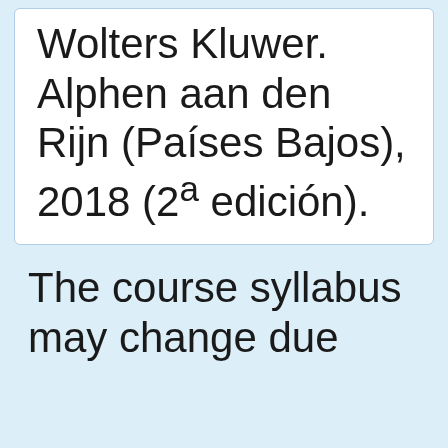Wolters Kluwer. Alphen aan den Rijn (Países Bajos), 2018 (2ª edición).
The course syllabus may change due